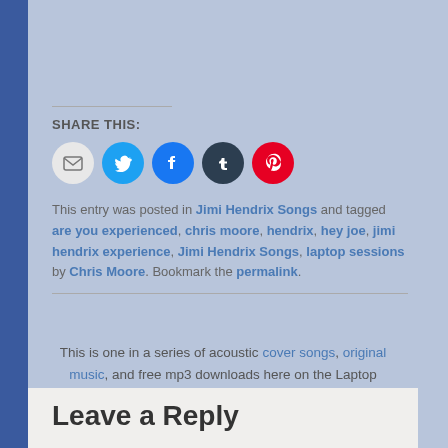SHARE THIS:
[Figure (infographic): Five social sharing buttons: Email (grey circle), Twitter (blue circle with bird icon), Facebook (blue circle with f icon), Tumblr (dark circle with t icon), Pinterest (red circle with P icon)]
This entry was posted in Jimi Hendrix Songs and tagged are you experienced, chris moore, hendrix, hey joe, jimi hendrix experience, Jimi Hendrix Songs, laptop sessions by Chris Moore. Bookmark the permalink.
This is one in a series of acoustic cover songs, original music, and free mp3 downloads here on the Laptop Sessions Music Video Blog.
Leave a Reply